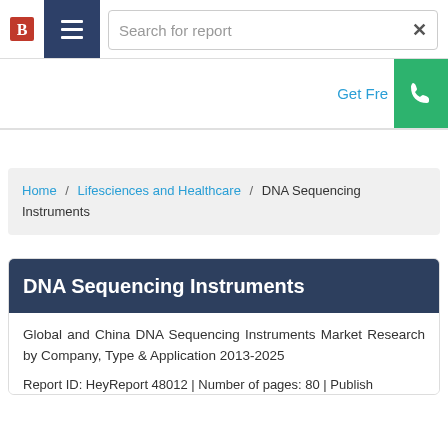Search for report
Get Fre
Home / Lifesciences and Healthcare / DNA Sequencing Instruments
DNA Sequencing Instruments
Global and China DNA Sequencing Instruments Market Research by Company, Type & Application 2013-2025
Report ID: HeyReport 48012 | Number of pages: 80 | Publish